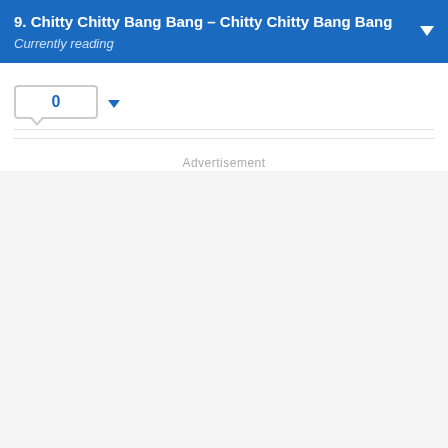9. Chitty Chitty Bang Bang – Chitty Chitty Bang Bang
Currently reading
0
Advertisement